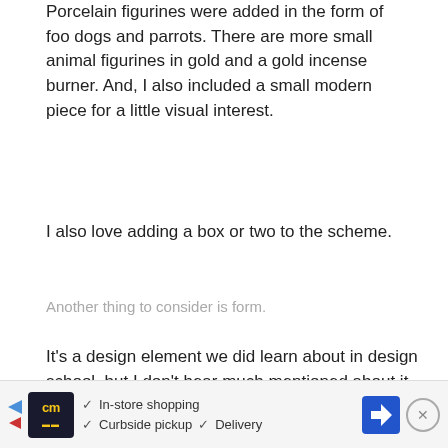Porcelain figurines were added in the form of foo dogs and parrots. There are more small animal figurines in gold and a gold incense burner. And, I also included a small modern piece for a little visual interest.
I also love adding a box or two to the scheme.
Another thing to consider is form.
It's a design element we did learn about in design school, but I don't hear much mentioned about it today.
What do I mean by form?
Basica...
[Figure (screenshot): Advertisement banner showing CM (Curbside/Market) brand logo with navigation icon, checkmarks for In-store shopping, Curbside pickup, and Delivery options, and a close button.]